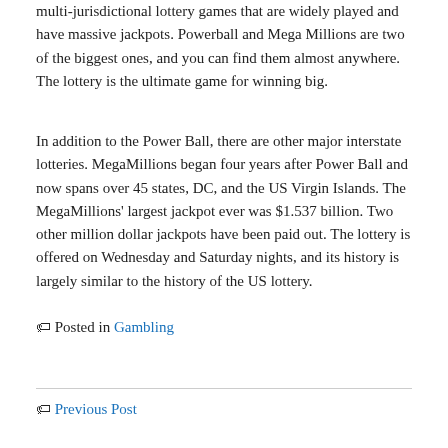multi-jurisdictional lottery games that are widely played and have massive jackpots. Powerball and Mega Millions are two of the biggest ones, and you can find them almost anywhere. The lottery is the ultimate game for winning big.
In addition to the Power Ball, there are other major interstate lotteries. MegaMillions began four years after Power Ball and now spans over 45 states, DC, and the US Virgin Islands. The MegaMillions' largest jackpot ever was $1.537 billion. Two other million dollar jackpots have been paid out. The lottery is offered on Wednesday and Saturday nights, and its history is largely similar to the history of the US lottery.
🏷 Posted in Gambling
🏷 Previous Post